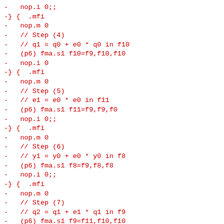-   nop.i 0;;
-} {  .mfi
-   nop.m 0
-   // Step (4)
-   // q1 = q0 + e0 * q0 in f10
-   (p6) fma.s1 f10=f9,f10,f10
-   nop.i 0
-} {  .mfi
-   nop.m 0
-   // Step (5)
-   // e1 = e0 * e0 in f11
-   (p6) fma.s1 f11=f9,f9,f0
-   nop.i 0;;
-} {  .mfi
-   nop.m 0
-   // Step (6)
-   // y1 = y0 + e0 * y0 in f8
-   (p6) fma.s1 f8=f9,f8,f8
-   nop.i 0;;
-} {  .mfi
-   nop.m 0
-   // Step (7)
-   // q2 = q1 + e1 * q1 in f9
-   (p6) fma.s1 f9=f11,f10,f10
-   nop.i 0;;
-} {  .mfi
-   nop.m 0
-   // Step (8)
-   // y2 = y1 + e1 * y1 in f8
-   (p6) fma.s1 f8=f11,f8,f8